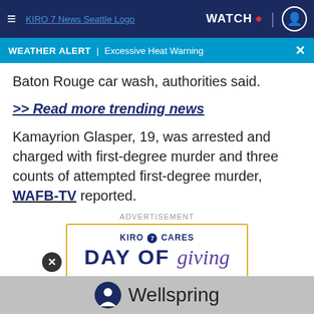KIRO 7 News Seattle — Navigation bar with hamburger menu, logo, WATCH button, and user icon
WEATHER ALERT | Excessive Heat Warning
Baton Rouge car wash, authorities said.
>> Read more trending news
Kamayrion Glasper, 19, was arrested and charged with first-degree murder and three counts of attempted first-degree murder, WAFB-TV reported.
ADVERTISEMENT
[Figure (other): KIRO 7 Cares Day of Giving advertisement banner with yellow border, showing 'KIRO 7 CARES' text and 'DAY OF giving' in large text]
[Figure (logo): Wellspring logo with person icon and 'Wellspring' text on grey banner at bottom]